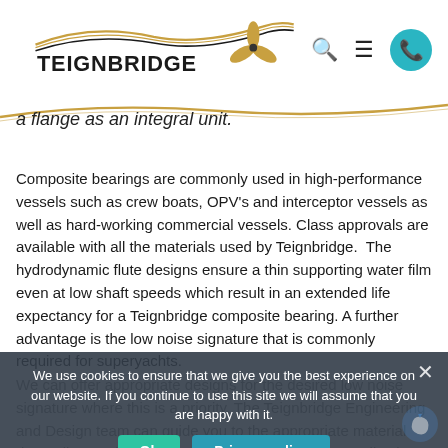Teignbridge [logo with propeller]
a flange as an integral unit.
Composite bearings are commonly used in high-performance vessels such as crew boats, OPV's and interceptor vessels as well as hard-working commercial vessels. Class approvals are available with all the materials used by Teignbridge.  The hydrodynamic flute designs ensure a thin supporting water film even at low shaft speeds which result in an extended life expectancy for a Teignbridge composite bearing. A further advantage is the low noise signature that is commonly required for superyachts.
We can offer appropriate designs for the desired low noise signature where this is a priority. The Teignbridge Engineering and Design team can guide you to the appropriate material depending on the vessel.  W  there are numerous applications appropriate for standard
We use cookies to ensure that we give you the best experience on our website. If you continue to use this site we will assume that you are happy with it.